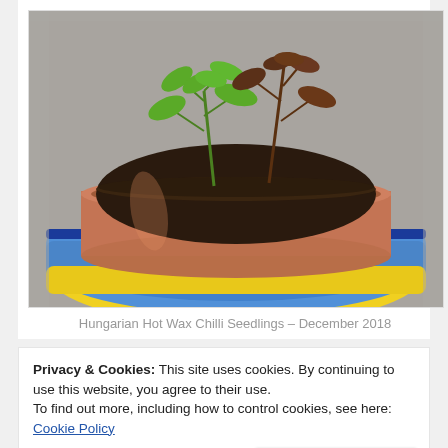[Figure (photo): A terracotta flower pot with young green chilli seedlings planted in dark soil, sitting inside a blue and yellow decorative ceramic bowl/saucer, placed on a cobblestone surface.]
Hungarian Hot Wax Chilli Seedlings – December 2018
Privacy & Cookies: This site uses cookies. By continuing to use this website, you agree to their use.
To find out more, including how to control cookies, see here: Cookie Policy
Close and accept
tree produces a continuous succession of either